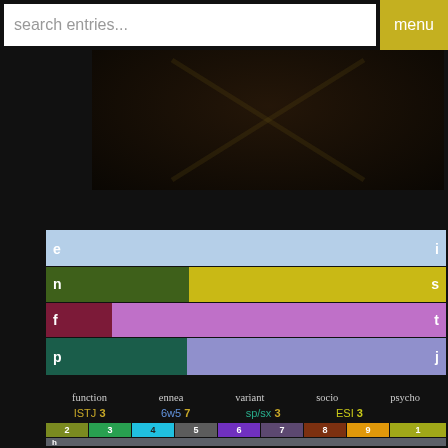search entries...   menu
[Figure (photo): Dark moody photo with diagonal crossing lines/shadows, appears to be an artistic or cinematic image]
[Figure (bar-chart): Personality type distribution chart]
function   ennea   variant   socio   psycho
ISTJ 3   6w5 7   sp/sx 3   ESI 3
sx/sp 1
sp/so 1
[Figure (bar-chart): Enneagram number distribution]
h
e
x
a
c
o